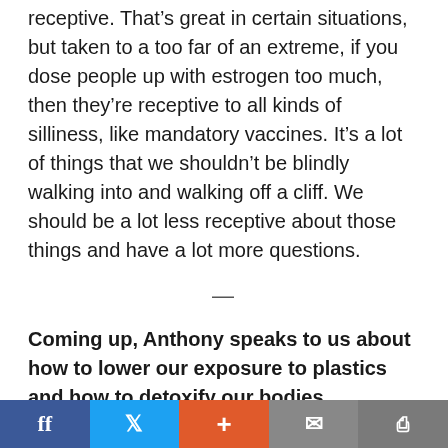receptive. That's great in certain situations, but taken to a too far of an extreme, if you dose people up with estrogen too much, then they're receptive to all kinds of silliness, like mandatory vaccines. It's a lot of things that we shouldn't be blindly walking into and walking off a cliff. We should be a lot less receptive about those things and have a lot more questions.
—
Coming up, Anthony speaks to us about how to lower our exposure to plastics and how to detoxify our bodies.
f  [twitter]  +  [mail]  [print]